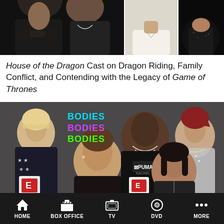[Figure (photo): Three cropped photos of people side by side: left shows two people in dark/leather clothing with crossed arms and tattoos, middle shows a person in white shirt, right shows a person in black outfit]
House of the Dragon Cast on Dragon Riding, Family Conflict, and Contending with the Legacy of Game of Thrones
[Figure (photo): Photo of five people at a Bodies Bodies Bodies press junket with the film's logo visible in cyan, purple, and green text. People are smiling and laughing.]
HOME  BOX OFFICE  TV  DVD  MORE